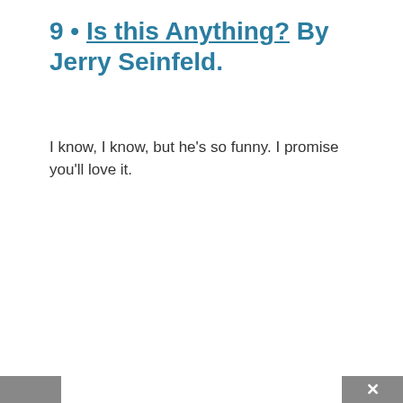9 • Is this Anything? By Jerry Seinfeld.
I know, I know, but he’s so funny. I promise you’ll love it.
[Figure (screenshot): Share This dialog box with social sharing buttons for Facebook, Twitter, Pinterest, and LinkedIn, with a close (x) button in the top right corner.]